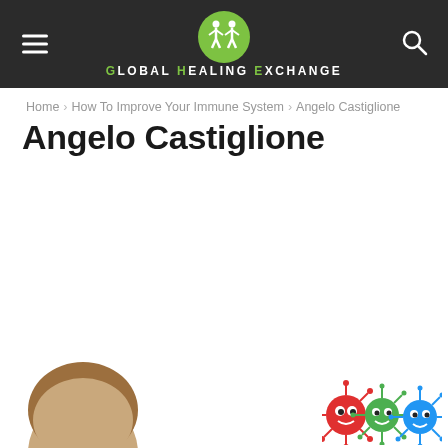Global Healing Exchange
Home › How To Improve Your Immune System › Angelo Castiglione
Angelo Castiglione
[Figure (photo): Partial view of a person's head/hair at bottom left, and colorful cartoon germ/virus icons at bottom right]
[Figure (illustration): Three cartoon germ/virus characters in red, green, and blue at the bottom right corner]